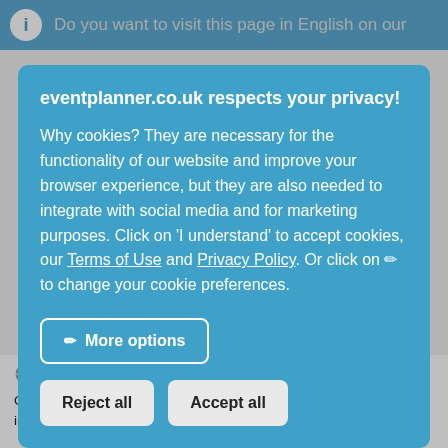Do you want to visit this page in English on our
eventplanner.co.uk respects your privacy!
Why cookies? They are necessary for the functionality of our website and improve your browser experience, but they are also needed to integrate with social media and for marketing purposes. Click on 'I understand' to accept cookies, our Terms of Use and Privacy Policy. Or click on ✏ to change your cookie preferences.
More options
Reject all
Accept all
| Write review | Mol (8.7 km)
Glinstering is located on the beautiful recreation area 'Het Zilvermeer' in the Antwerp municipality of Mol. In our two